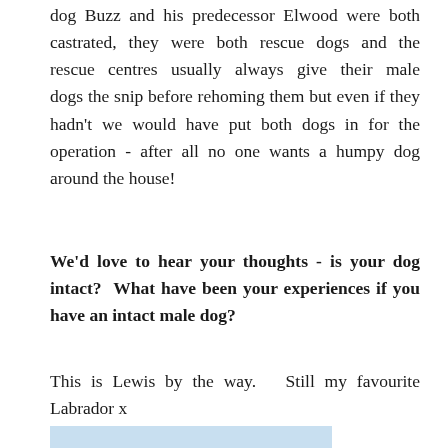dog Buzz and his predecessor Elwood were both castrated, they were both rescue dogs and the rescue centres usually always give their male dogs the snip before rehoming them but even if they hadn't we would have put both dogs in for the operation - after all no one wants a humpy dog around the house!
We'd love to hear your thoughts - is your dog intact? What have been your experiences if you have an intact male dog?
This is Lewis by the way. Still my favourite Labrador x
[Figure (other): Partial blue/light colored image at bottom of page]